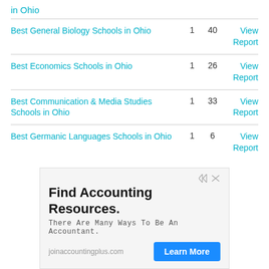in Ohio
| Report | Rank | Count | Action |
| --- | --- | --- | --- |
| Best General Biology Schools in Ohio | 1 | 40 | View Report |
| Best Economics Schools in Ohio | 1 | 26 | View Report |
| Best Communication & Media Studies Schools in Ohio | 1 | 33 | View Report |
| Best Germanic Languages Schools in Ohio | 1 | 6 | View Report |
[Figure (infographic): Advertisement for joinaccountingplus.com: Find Accounting Resources. There Are Many Ways To Be An Accountant. Learn More button.]